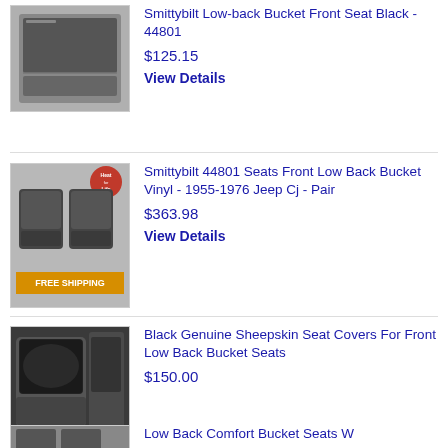[Figure (photo): Black leather low back bucket front seat, close-up product photo]
Smittybilt Low-back Bucket Front Seat Black - 44801
$125.15
View Details
[Figure (photo): Two black low back bucket vinyl seats for 1955-1976 Jeep CJ with Free Shipping banner and Heat for Life badge]
Smittybilt 44801 Seats Front Low Back Bucket Vinyl - 1955-1976 Jeep Cj - Pair
$363.98
View Details
[Figure (photo): Black genuine sheepskin seat covers installed on front bucket seats in a vehicle interior]
Black Genuine Sheepskin Seat Covers For Front Low Back Bucket Seats
$150.00
View Details
[Figure (photo): Partial view of low back comfort bucket seats product image]
Low Back Comfort Bucket Seats W